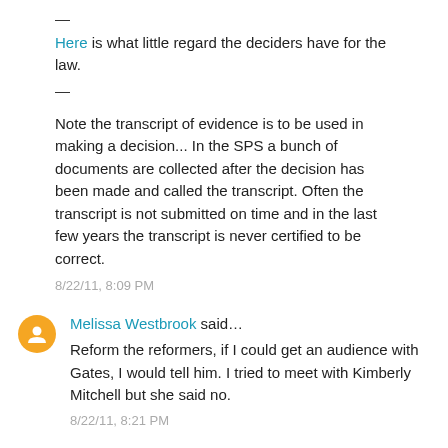—
Here is what little regard the deciders have for the law.
—
Note the transcript of evidence is to be used in making a decision... In the SPS a bunch of documents are collected after the decision has been made and called the transcript. Often the transcript is not submitted on time and in the last few years the transcript is never certified to be correct.
8/22/11, 8:09 PM
Melissa Westbrook said...
Reform the reformers, if I could get an audience with Gates, I would tell him. I tried to meet with Kimberly Mitchell but she said no.
8/22/11, 8:21 PM
Anonymous said